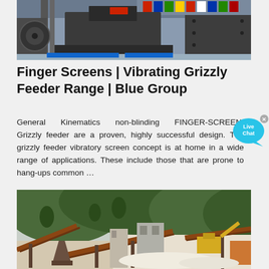[Figure (photo): Industrial heavy machinery / crusher equipment inside a large manufacturing or exhibition hall with colorful flags in the background]
Finger Screens | Vibrating Grizzly Feeder Range | Blue Group
General Kinematics non-blinding FINGER-SCREEN Grizzly feeder are a proven, highly successful design. The grizzly feeder vibratory screen concept is at home in a wide range of applications. These include those that are prone to hang-ups common …
[Figure (photo): Outdoor quarry or mining site with conveyors, crushers, and equipment on a hillside with greenery in the background]